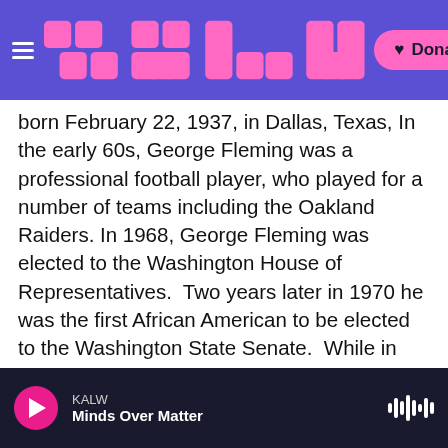KALW (logo) — Donate button
born February 22, 1937, in Dallas, Texas, In the early 60s, George Fleming was a professional football player, who played for a number of teams including the Oakland Raiders. In 1968, George Fleming was elected to the Washington House of Representatives.  Two years later in 1970 he was the first African American to be elected to the Washington State Senate.  While in the Senate he g was an advocate for the underprivileged, a state Martin Luther King Day holiday, control of illicit drugs, improvements in the quality of education, small business and economic development, and civil rights.  He also fought to
KALW | Minds Over Matter